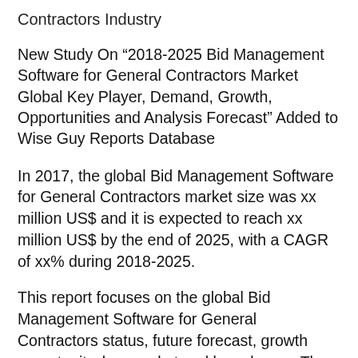Contractors Industry
New Study On “2018-2025 Bid Management Software for General Contractors Market Global Key Player, Demand, Growth, Opportunities and Analysis Forecast” Added to Wise Guy Reports Database
In 2017, the global Bid Management Software for General Contractors market size was xx million US$ and it is expected to reach xx million US$ by the end of 2025, with a CAGR of xx% during 2018-2025.
This report focuses on the global Bid Management Software for General Contractors status, future forecast, growth opportunity, key market and key players. The study objectives are to present the Bid Management Software for General Contractors